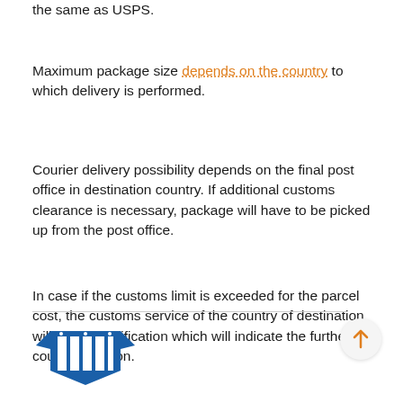the same as USPS.
Maximum package size depends on the country to which delivery is performed.
Courier delivery possibility depends on the final post office in destination country. If additional customs clearance is necessary, package will have to be picked up from the post office.
In case if the customs limit is exceeded for the parcel cost, the customs service of the country of destination will send a notification which will indicate the further course of action.
[Figure (logo): USPS Priority Mail logo with eagle emblem]